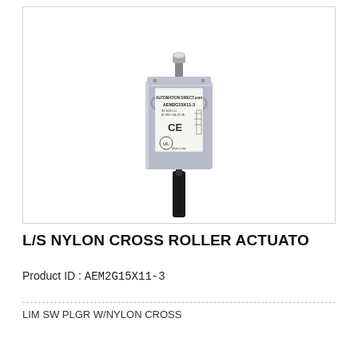[Figure (photo): Product photo of AEM2G15X11-3 limit switch with nylon cross roller actuator. Gray rectangular body with label showing AUTOMATION DIRECT.com, AEM2G15X11-3, CE mark, UL listing, Made in Italy. Black cable coming from bottom.]
L/S NYLON CROSS ROLLER ACTUATO
Product ID : AEM2G15X11-3
LIM SW PLGR W/NYLON CROSS